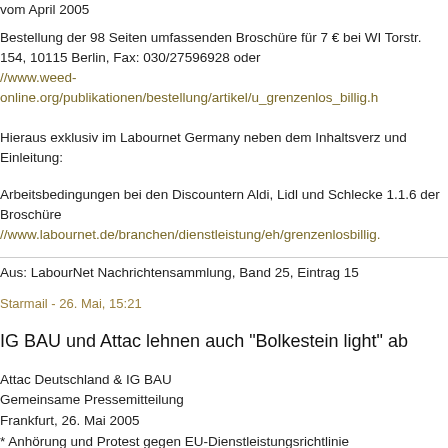vom April 2005
Bestellung der 98 Seiten umfassenden Broschüre für 7 € bei WI Torstr. 154, 10115 Berlin, Fax: 030/27596928 oder //www.weed-online.org/publikationen/bestellung/artikel/u_grenzenlos_billig.h
Hieraus exklusiv im Labournet Germany neben dem Inhaltsverz und Einleitung:
Arbeitsbedingungen bei den Discountern Aldi, Lidl und Schlecke 1.1.6 der Broschüre //www.labournet.de/branchen/dienstleistung/eh/grenzenlosbillig.
Aus: LabourNet Nachrichtensammlung, Band 25, Eintrag 15
Starmail - 26. Mai, 15:21
IG BAU und Attac lehnen auch "Bolkestein light" ab
Attac Deutschland & IG BAU
Gemeinsame Pressemitteilung
Frankfurt, 26. Mai 2005
* Anhörung und Protest gegen EU-Dienstleistungsrichtlinie
* IG BAU und Attac lehnen auch "Bolkestein light" ab
Die Industriegewerkschaft Bauen-Agrar-Umwelt und das globalisierungskritische Netzwerk Attac haben wenige Tage vo